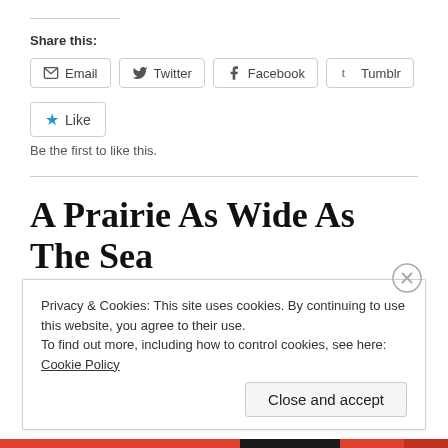Share this:
Email  Twitter  Facebook  Tumblr
Like
Be the first to like this.
A Prairie As Wide As The Sea
SEPTEMBER 15, 2015 / 7 COMMENTS
Privacy & Cookies: This site uses cookies. By continuing to use this website, you agree to their use.
To find out more, including how to control cookies, see here: Cookie Policy
Close and accept